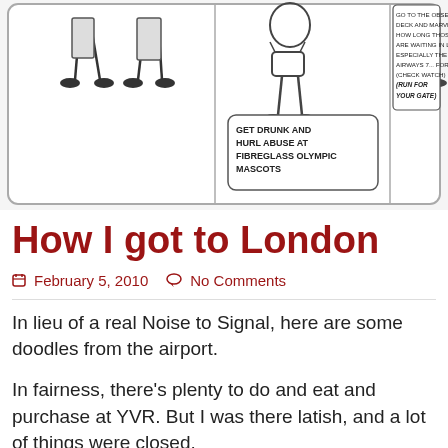[Figure (illustration): Comic strip showing figures at an airport. Left panel: two figures standing (legs/feet visible). Middle panel: figure with bag and speech bubble reading 'GET DRUNK AND HURL ABUSE AT FIBREGLASS OLYMPIC MASCOTS'. Right panel: partial figure with speech bubble reading 'GO TO THE OBSERVATION DECK AND MARVEL AT HOW LONG THOSE PLANES ARE WAITING IN LINE ESPECIALLY THE BRITISH AIRWAYS 7... FORTY...UH... (CHECK WATCH) (RUN FOR YOUR GATE)']
How I got to London
February 5, 2010   No Comments
In lieu of a real Noise to Signal, here are some doodles from the airport.
In fairness, there’s plenty to do and eat and purchase at YVR. But I was there latish, and a lot of things were closed.
That said, I did not in fact get drunk – had a